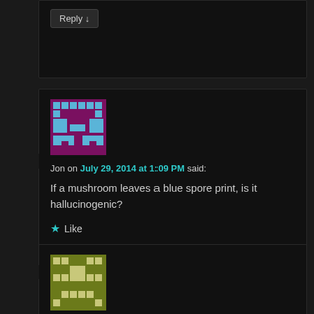Reply ↓
[Figure (illustration): Pixelated avatar icon with purple/maroon background and blue pixel art character]
Jon on July 29, 2014 at 1:09 PM said:
If a mushroom leaves a blue spore print, is it hallucinogenic?
Like
Reply ↓
[Figure (illustration): Pixelated avatar icon with olive/green background and tan pixel art character]